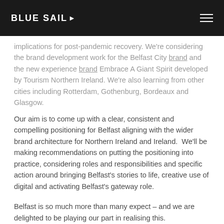BLUE SAIL
implications for post-pandemic recovery. We're considering the brand development work for the Belfast City brand and the new experience brand Embrace A Giant Spirit developed by Tourism Northern Ireland. We're also learning from other cities including Rotterdam, Gothenburg, Bordeaux and Glasgow.
Our aim is to come up with a clear, consistent and compelling positioning for Belfast aligning with the wider brand architecture for Northern Ireland and Ireland. We'll be making recommendations on putting the positioning into practice, considering roles and responsibilities and specific action around bringing Belfast's stories to life, creative use of digital and activating Belfast's gateway role.
Belfast is so much more than many expect – and we are delighted to be playing our part in realising this.